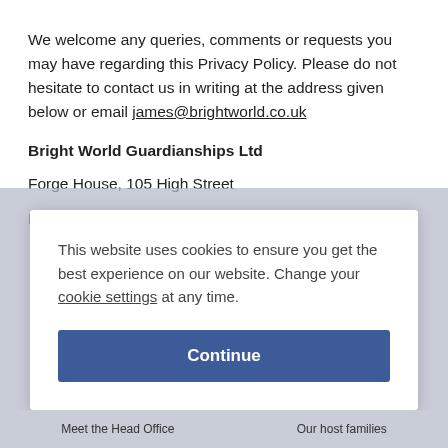We welcome any queries, comments or requests you may have regarding this Privacy Policy. Please do not hesitate to contact us in writing at the address given below or email james@brightworld.co.uk
Bright World Guardianships Ltd
Forge House, 105 High Street
Hurstpierpoint, West Sussex
This website uses cookies to ensure you get the best experience on our website. Change your cookie settings at any time.
Continue
Meet the Head Office   Our host families